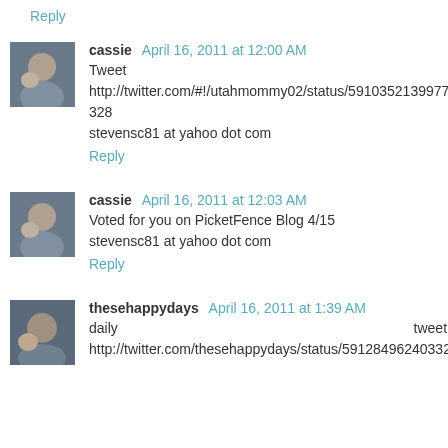Reply
cassie April 16, 2011 at 12:00 AM
Tweet http://twitter.com/#!/utahmommy02/status/59103521399779328
stevensc81 at yahoo dot com
Reply
cassie April 16, 2011 at 12:03 AM
Voted for you on PicketFence Blog 4/15
stevensc81 at yahoo dot com
Reply
thesehappydays April 16, 2011 at 1:39 AM
daily tweet: http://twitter.com/thesehappydays/status/59128496240332